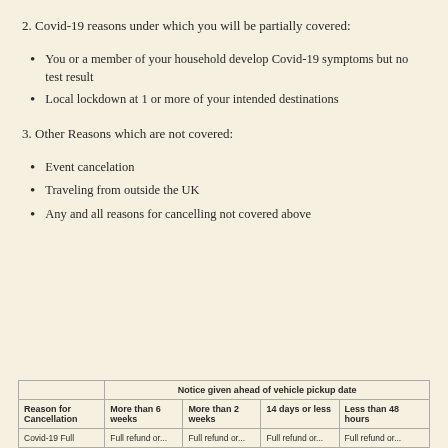2. Covid-19 reasons under which you will be partially covered:
You or a member of your household develop Covid-19 symptoms but no test result
Local lockdown at 1 or more of your intended destinations
3. Other Reasons which are not covered:
Event cancelation
Traveling from outside the UK
Any and all reasons for cancelling not covered above
|  | Notice given ahead of vehicle pickup date |  |  |  |
| --- | --- | --- | --- | --- |
| Reason for Cancellation | More than 6 weeks | More than 2 weeks | 14 days or less | Less than 48 hours |
| Covid-19 Full | Full refund or... | Full refund or... | Full refund or... | Full refund or... |